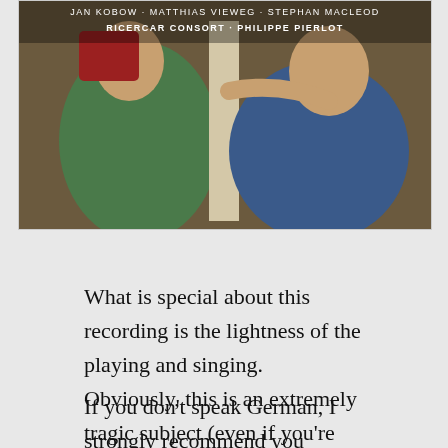[Figure (photo): Album cover art showing a Renaissance-style painting with figures in red, green and blue garments. White text overlay reads: JAN KOBOW · MATTHIAS VIEWEG · STEPHAN MACLEOD, RICERCAR CONSORT · PHILIPPE PIERLOT]
What is special about this recording is the lightness of the playing and singing. Obviously, this is an extremely tragic subject (even if you're not Christian), but Pierlot and his ensemble give us a very clean and balanced version. It is never too heavy or overloaded. Furthermore, the soloists all do an excellent job, particularly Matthias Vieweg as Jesus.
If you don't speak German, I strongly recommend you follow the booklet to be able to follow the